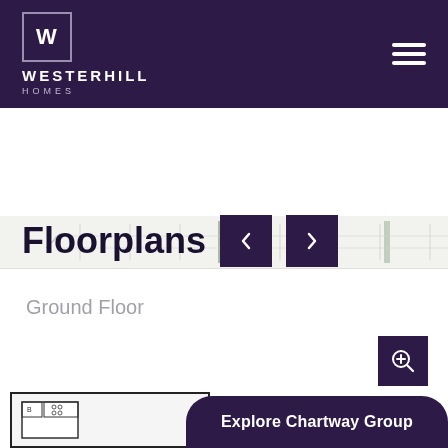[Figure (logo): Westerhill Homes logo with W in a square box on dark purple header background]
[Figure (screenshot): Horizontal strip showing a faint floorplan image across full width]
Floorplans
Ground Floor
[Figure (illustration): Partial floorplan drawing showing ground floor layout with room outlines and a zoom button]
Explore Chartway Group